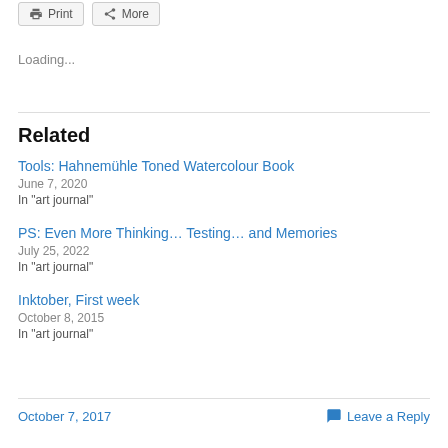Loading...
Related
Tools: Hahnemühle Toned Watercolour Book
June 7, 2020
In "art journal"
PS: Even More Thinking… Testing… and Memories
July 25, 2022
In "art journal"
Inktober, First week
October 8, 2015
In "art journal"
October 7, 2017
Leave a Reply